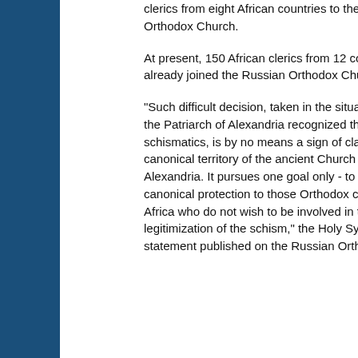clerics from eight African countries to the Russian Orthodox Church.
At present, 150 African clerics from 12 countries have already joined the Russian Orthodox Church.
"Such difficult decision, taken in the situation when the Patriarch of Alexandria recognized the Ukrainian schismatics, is by no means a sign of claims to the canonical territory of the ancient Church of Alexandria. It pursues one goal only - to give canonical protection to those Orthodox clerics in Africa who do not wish to be involved in the unlawful legitimization of the schism," the Holy Synod said in a statement published on the Russian Orthodox Church website.